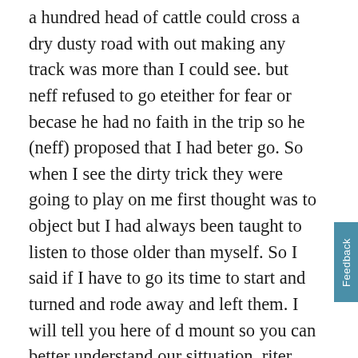a hundred head of cattle could cross a dry dusty road with out making any track was more than I could see. but neff refused to go eteither for fear or becase he had no faith in the trip so he (neff) proposed that I had beter go. So when I see the dirty trick they were going to play on me first thought was to object but I had always been taught to listen to those older than myself. So I said if I have to go its time to start and turned and rode away and left them. I will tell you here of d mount so you can better understand our sittuation. riter was on an old horse quite poor and very slow and neff rode a nice high spirited mare in good flesh. and I rode a two year old colt quite thin in flesh but plenty of life. So here I